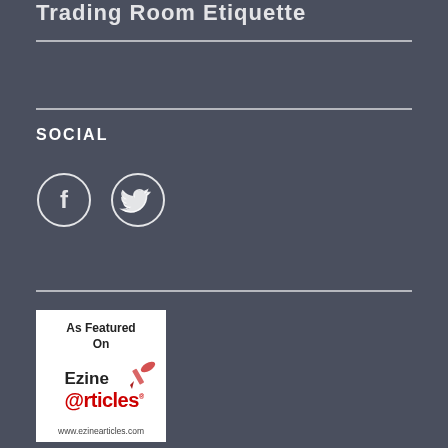Trading Room Etiquette
SOCIAL
[Figure (illustration): Two circular social media icons: Facebook (f) and Twitter (bird) with white circle outlines on dark background]
[Figure (logo): As Featured On EzineArticles badge with white background, showing 'As Featured On', 'Ezine' with pen illustration, '@rticles' in red, and 'www.ezinearticles.com']